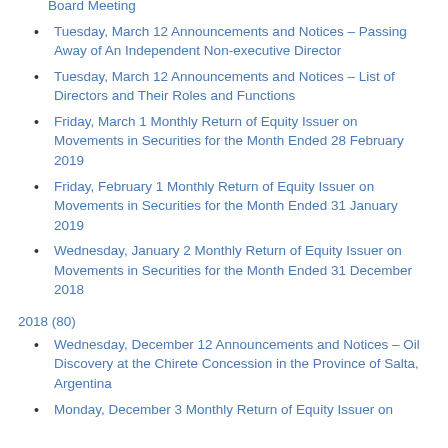Board Meeting
Tuesday, March 12 Announcements and Notices – Passing Away of An Independent Non-executive Director
Tuesday, March 12 Announcements and Notices – List of Directors and Their Roles and Functions
Friday, March 1 Monthly Return of Equity Issuer on Movements in Securities for the Month Ended 28 February 2019
Friday, February 1 Monthly Return of Equity Issuer on Movements in Securities for the Month Ended 31 January 2019
Wednesday, January 2 Monthly Return of Equity Issuer on Movements in Securities for the Month Ended 31 December 2018
2018 (80)
Wednesday, December 12 Announcements and Notices – Oil Discovery at the Chirete Concession in the Province of Salta, Argentina
Monday, December 3 Monthly Return of Equity Issuer on